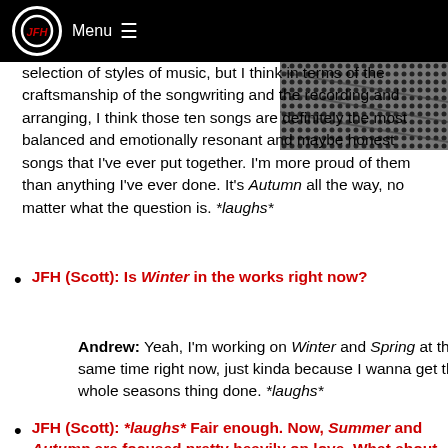JFH Menu
[Figure (photo): Black and white close-up photo of guitar strings or similar musical instrument texture]
selection of styles of music, but I think in terms of the craftsmanship of the songwriting and the recording and arranging, I think those ten songs are definitely the most balanced and emotionally resonant and maybe honest songs that I've ever put together. I'm more proud of them than anything I've ever done. It's Autumn all the way, no matter what the question is. *laughs*
JFH (Scott): Is Winter in the works right now?
Andrew: Yeah, I'm working on Winter and Spring at the same time right now, just kinda because I wanna get this whole seasons thing done. *laughs*
JFH (Scott): *laughs* Fair enough. Now, Summer and Autumn are focused pretty heavily on love. What about Winter and Spring?